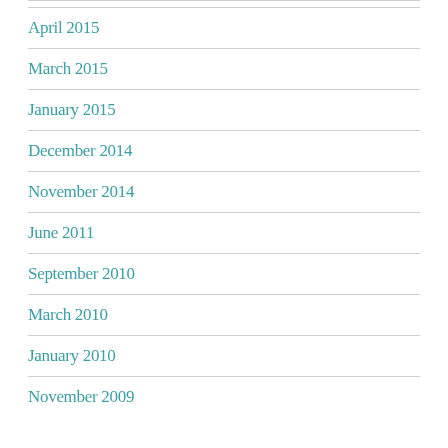April 2015
March 2015
January 2015
December 2014
November 2014
June 2011
September 2010
March 2010
January 2010
November 2009